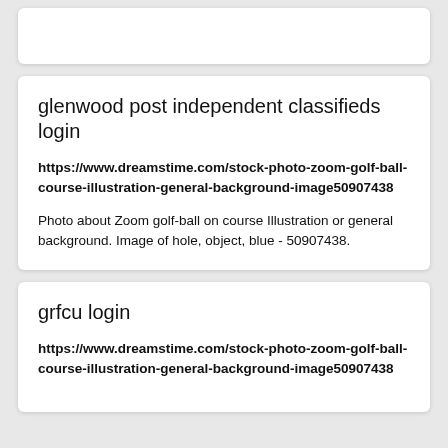glenwood post independent classifieds login
https://www.dreamstime.com/stock-photo-zoom-golf-ball-course-illustration-general-background-image50907438
Photo about Zoom golf-ball on course Illustration or general background. Image of hole, object, blue - 50907438.
grfcu login
https://www.dreamstime.com/stock-photo-zoom-golf-ball-course-illustration-general-background-image50907438